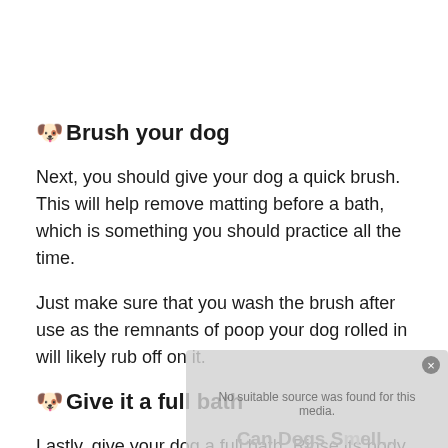🐶Brush your dog
Next, you should give your dog a quick brush. This will help remove matting before a bath, which is something you should practice all the time.
Just make sure that you wash the brush after use as the remnants of poop your dog rolled in will likely rub off on it.
🐶Give it a full bath
Lastly, give your dog a full bath. Rinse its body with water first to remove as much poop left as
[Figure (other): Greyed-out media overlay box with text 'No suitable source was found for this media.' and watermark text 'Can Dogs Smell...']